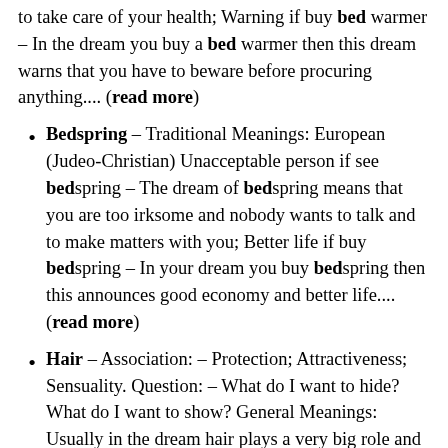to take care of your health; Warning if buy bed warmer – In the dream you buy a bed warmer then this dream warns that you have to beware before procuring anything.... (read more)
Bedspring – Traditional Meanings: European (Judeo-Christian) Unacceptable person if see bedspring – The dream of bedspring means that you are too irksome and nobody wants to talk and to make matters with you; Better life if buy bedspring – In your dream you buy bedspring then this announces good economy and better life.... (read more)
Hair – Association: – Protection; Attractiveness; Sensuality. Question: – What do I want to hide? What do I want to show? General Meanings: Usually in the dream hair plays a very big role and symbolizes our physical and mental states. It also